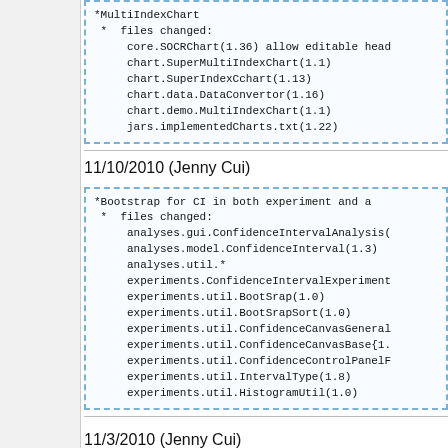*MultiIndexChart
 * files changed:
     core.SOCRChart(1.36) allow editable head
     chart.SuperMultiIndexChart(1.1)
     chart.SuperIndexCchart(1.13)
     chart.data.DataConvertor(1.16)
     chart.demo.MultiIndexChart(1.1)
     jars.implementedCharts.txt(1.22)
11/10/2010 (Jenny Cui)
*Bootstrap for CI in both experiment and a
 * files changed:
     analyses.gui.ConfidenceIntervalAnalysis(
     analyses.model.ConfidenceInterval(1.3)
     analyses.util.*
     experiments.ConfidenceIntervalExperiment
     experiments.util.BootSrap(1.0)
     experiments.util.BootSrapSort(1.0)
     experiments.util.ConfidenceCanvasGeneral
     experiments.util.ConfidenceCanvasBase{1.
     experiments.util.ConfidenceControlPanelF
     experiments.util.IntervalType(1.8)
     experiments.util.HistogramUtil(1.0)
11/3/2010 (Jenny Cui)
*Modeler
 * files changed:
     util.FloatSlider(1.11) — The problem